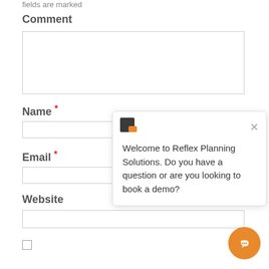fields are marked
Comment
[Comment textarea - empty]
Name *
[Name input - empty]
Email *
[Email input - empty]
Website
[Website input - empty]
[Checkbox - unchecked]
[Figure (screenshot): Chat popup from Reflex Planning Solutions with logo, close button, and message: Welcome to Reflex Planning Solutions. Do you have a question or are you looking to book a demo?]
[Figure (other): Orange circular chat button with speech bubble icon in bottom right corner]